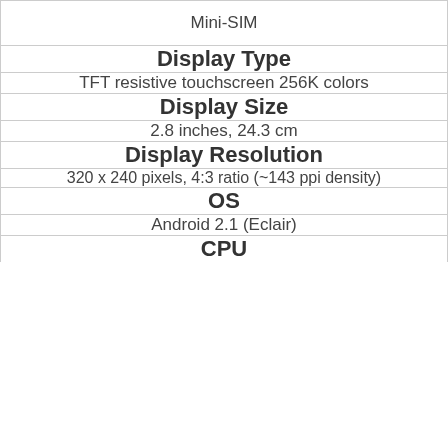| Mini-SIM |
| Display Type |
| TFT resistive touchscreen 256K colors |
| Display Size |
| 2.8 inches, 24.3 cm |
| Display Resolution |
| 320 x 240 pixels, 4:3 ratio (~143 ppi density) |
| OS |
| Android 2.1 (Eclair) |
| CPU |